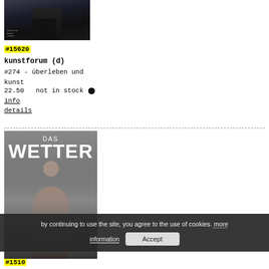[Figure (photo): Fashion photo showing a person in dark clothing against a light background, with small text overlay at bottom left]
#15620
kunstforum (d)
#274 - überleben und kunst
22.50   not in stock ●
info
details
[Figure (photo): Magazine cover of 'DAS WETTER' showing a young woman in front of a city backdrop]
by continuing to use the site, you agree to the use of cookies. more information
Accept
#15610